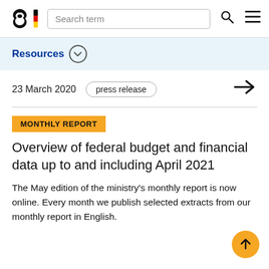Search term
Resources
23 March 2020   press release
MONTHLY REPORT
Overview of federal budget and financial data up to and including April 2021
The May edition of the ministry’s monthly report is now online. Every month we publish selected extracts from our monthly report in English.